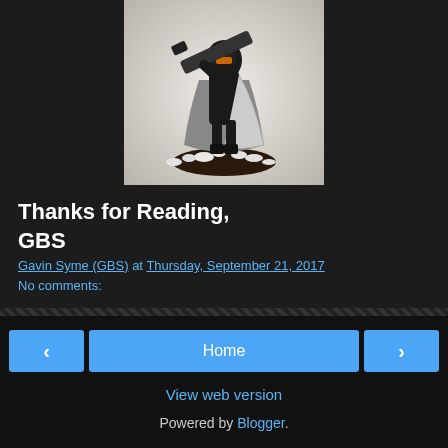[Figure (photo): Painted miniature figure of a dark-armored character holding a large weapon/cannon, standing on a snow-covered circular base, against a light background.]
Thanks for Reading,
GBS
Gavin Syme (GBS) at Thursday, September 21, 2017
No comments:
Home | View web version | Powered by Blogger.